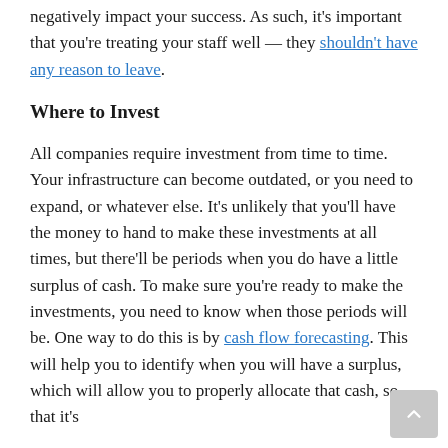negatively impact your success. As such, it's important that you're treating your staff well — they shouldn't have any reason to leave.
Where to Invest
All companies require investment from time to time. Your infrastructure can become outdated, or you need to expand, or whatever else. It's unlikely that you'll have the money to hand to make these investments at all times, but there'll be periods when you do have a little surplus of cash. To make sure you're ready to make the investments, you need to know when those periods will be. One way to do this is by cash flow forecasting. This will help you to identify when you will have a surplus, which will allow you to properly allocate that cash, so that it's